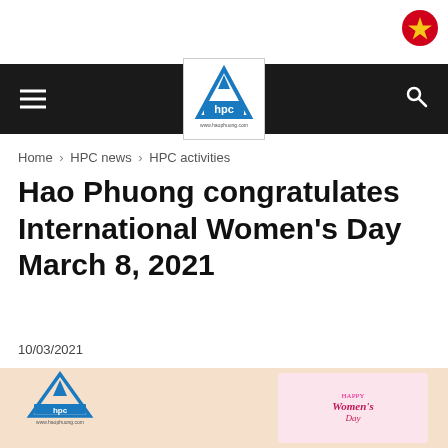[Figure (logo): Vietnamese flag red circle with yellow star in top-right corner]
HPC navigation bar with hamburger menu, HPC logo, and search icon
Home › HPC news › HPC activities
Hao Phuong congratulates International Women's Day March 8, 2021
10/03/2021
[Figure (photo): Promotional banner with HPC logo on peach/salmon background and Women's Day card with flowers and text 'HAPPY Women's Day']